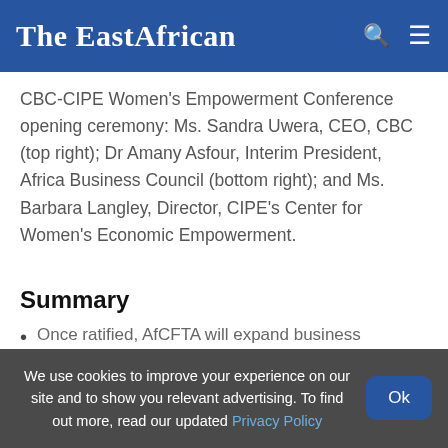The EastAfrican
CBC-CIPE Women's Empowerment Conference opening ceremony: Ms. Sandra Uwera, CEO, CBC (top right); Dr Amany Asfour, Interim President, Africa Business Council (bottom right); and Ms. Barbara Langley, Director, CIPE's Center for Women's Economic Empowerment.
Summary
Once ratified, AfCFTA will expand business prospects for women-led businesses by integrating informal SMEs into the continental markets, breaking the barriers they constantly encounter as they try to penetrate more
We use cookies to improve your experience on our site and to show you relevant advertising. To find out more, read our updated Privacy Policy